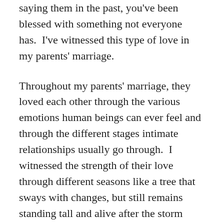saying them in the past, you've been blessed with something not everyone has.  I've witnessed this type of love in my parents' marriage.
Throughout my parents' marriage, they loved each other through the various emotions human beings can ever feel and through the different stages intimate relationships usually go through.  I witnessed the strength of their love through different seasons like a tree that sways with changes, but still remains standing tall and alive after the storm passes.   I cannot imagine how my father feels without his long time life partner now for almost a year, the longest they